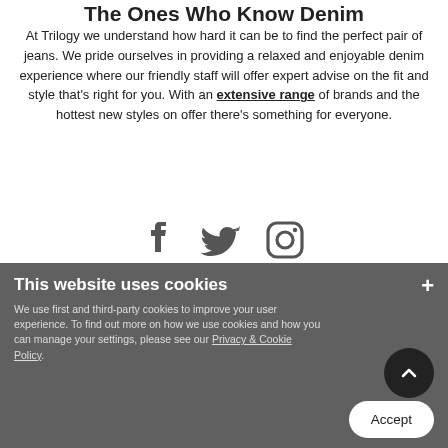The Ones Who Know Denim
At Trilogy we understand how hard it can be to find the perfect pair of jeans. We pride ourselves in providing a relaxed and enjoyable denim experience where our friendly staff will offer expert advise on the fit and style that's right for you. With an extensive range of brands and the hottest new styles on offer there's something for everyone.
[Figure (illustration): Three social media icons: Facebook, Twitter, Instagram in dark gray]
[Figure (infographic): Cookie consent banner overlay with title 'This website uses cookies', descriptive text about first and third-party cookies, a Privacy & Cookie Policy link, an Accept button, and a back-to-top button. Behind it: footer with Help, Discover Trilogy, About Us links.]